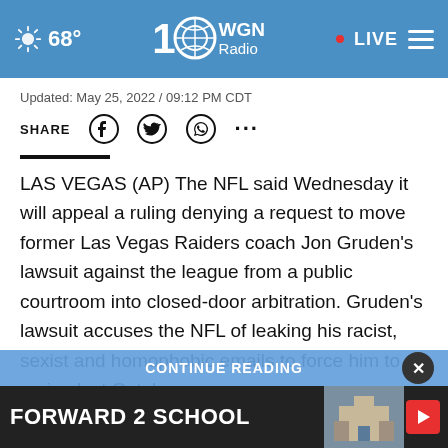WGN Radio 720 — 68° — LIVE
Updated: May 25, 2022 / 09:12 PM CDT
SHARE
LAS VEGAS (AP) The NFL said Wednesday it will appeal a ruling denying a request to move former Las Vegas Raiders coach Jon Gruden's lawsuit against the league from a public courtroom into closed-door arbitration. Gruden's lawsuit accuses the NFL of leaking his racist, sexist and homophobic emails to force him to resign last October.
CONTINUE READING
FORWARD 2 SCHOOL